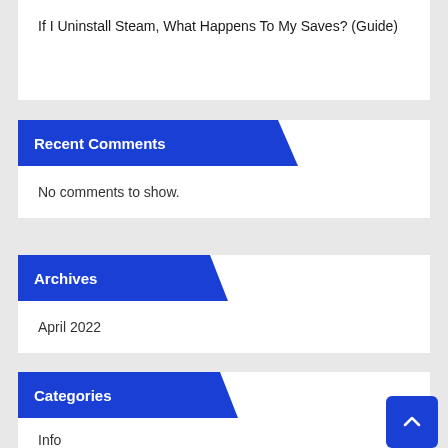If I Uninstall Steam, What Happens To My Saves? (Guide)
Recent Comments
No comments to show.
Archives
April 2022
Categories
Info